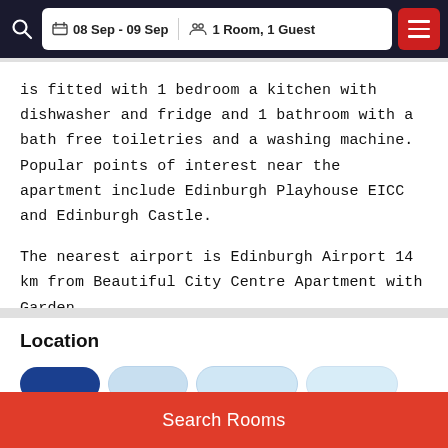08 Sep - 09 Sep  1 Room, 1 Guest
is fitted with 1 bedroom a kitchen with dishwasher and fridge and 1 bathroom with a bath free toiletries and a washing machine. Popular points of interest near the apartment include Edinburgh Playhouse EICC and Edinburgh Castle.

The nearest airport is Edinburgh Airport 14 km from Beautiful City Centre Apartment with Garden.
Location
[Figure (screenshot): Row of filter/tab pills for location section, first pill dark blue (selected), remaining pills light blue (unselected)]